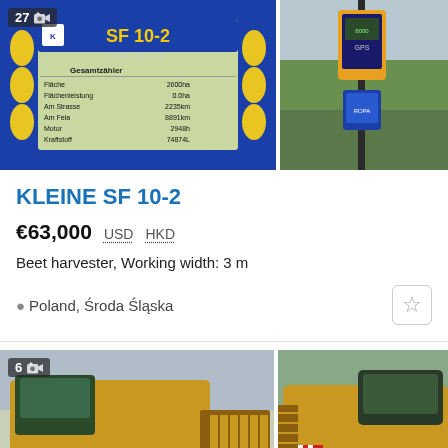[Figure (photo): Three photos of a Franz Kleine SF 10-2 beet harvester control display and GPS equipment. First image shows the SF 10-2 display console with Gesamtzähler data. Second shows a GPS/survey pole with display screen. Third shows a close-up of a control unit.]
KLEINE SF 10-2
€63,000  USD  HKD
Beet harvester, Working width: 3 m
Poland, Środa Śląska
[Figure (photo): Two photos of a large yellow beet harvester machine (New Holland or similar) in a field. Left photo shows front/side view, right photo shows side profile view.]